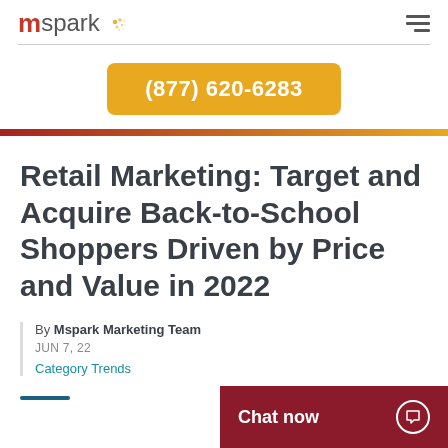mspark (logo) | hamburger menu
(877) 620-6283
Retail Marketing: Target and Acquire Back-to-School Shoppers Driven by Price and Value in 2022
By Mspark Marketing Team
JUN 7, 22
Category Trends
Chat now